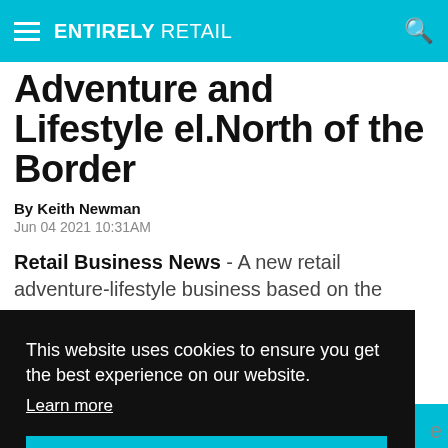ENTIRELY RETAIL
Adventure and Lifestyle el.North of the Border
By Keith Newman
Jun 04 2021 10:31AM
Retail Business News - A new retail adventure-lifestyle business based on the
This website uses cookies to ensure you get the best experience on our website.
Learn more
I agree